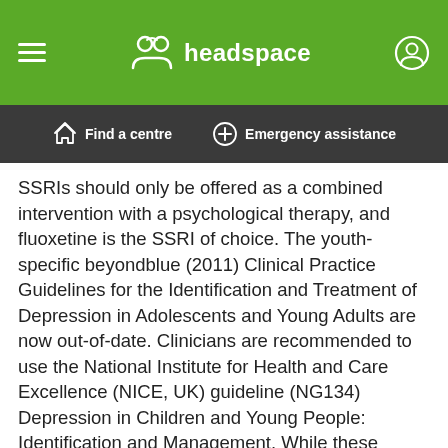headspace
Find a centre | Emergency assistance
SSRIs should only be offered as a combined intervention with a psychological therapy, and fluoxetine is the SSRI of choice. The youth-specific beyondblue (2011) Clinical Practice Guidelines for the Identification and Treatment of Depression in Adolescents and Young Adults are now out-of-date. Clinicians are recommended to use the National Institute for Health and Care Excellence (NICE, UK) guideline (NG134) Depression in Children and Young People: Identification and Management. While these guidelines are for adolescents up to the age of 18, it is more appropriate to use these guidelines to inform treatment of young adults (aged 18-25 years) rather than adult guidelines for a number of reasons. For more information see the headspace resource